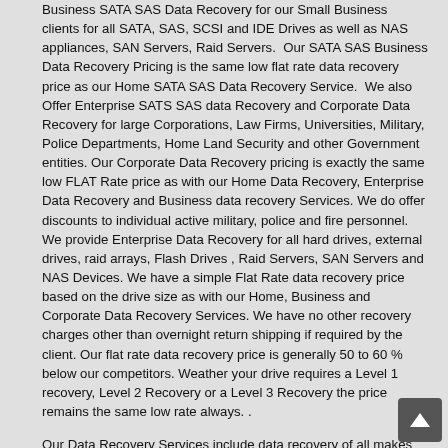Business SATA SAS Data Recovery for our Small Business clients for all SATA, SAS, SCSI and IDE Drives as well as NAS appliances, SAN Servers, Raid Servers. Our SATA SAS Business Data Recovery Pricing is the same low flat rate data recovery price as our Home SATA SAS Data Recovery Service. We also Offer Enterprise SATS SAS data Recovery and Corporate Data Recovery for large Corporations, Law Firms, Universities, Military, Police Departments, Home Land Security and other Government entities. Our Corporate Data Recovery pricing is exactly the same low FLAT Rate price as with our Home Data Recovery, Enterprise Data Recovery and Business data recovery Services. We do offer discounts to individual active military, police and fire personnel. We provide Enterprise Data Recovery for all hard drives, external drives, raid arrays, Flash Drives , Raid Servers, SAN Servers and NAS Devices. We have a simple Flat Rate data recovery price based on the drive size as with our Home, Business and Corporate Data Recovery Services. We have no other recovery charges other than overnight return shipping if required by the client. Our flat rate data recovery price is generally 50 to 60 % below our competitors. Weather your drive requires a Level 1 recovery, Level 2 Recovery or a Level 3 Recovery the price remains the same low rate always. .
Our Data Recovery Services include data recovery of all makes and models of External Hard Drives. We provide External Hard Drive data recovery for Seagate External hard drives, Maxtor external drives, Western Digital external hard drives, HGST external hard drives, HP SAS, Dell SAS, Lenovo SAS, LSI SAS, NetApp SAS, Hitachi External drives, Fujitsu external drives,